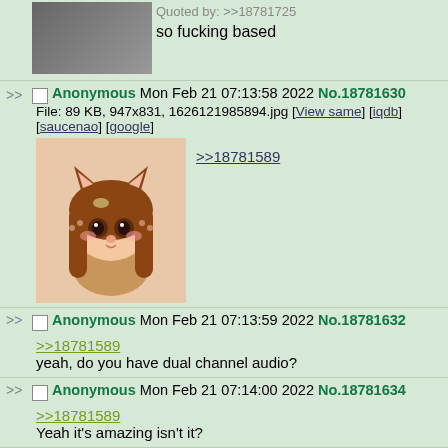Quoted by: >>18781725
so fucking based
Anonymous Mon Feb 21 07:13:58 2022 No.18781630
File: 89 KB, 947x831, 1626121985894.jpg [View same] [iqdb] [saucenao] [google]
>>18781589
[Figure (photo): Anime character with animal ears and long brown hair, chibi style illustration]
Anonymous Mon Feb 21 07:13:59 2022 No.18781632
>>18781589
yeah, do you have dual channel audio?
Anonymous Mon Feb 21 07:14:00 2022 No.18781634
>>18781589
Yeah it's amazing isn't it?
Anonymous Mon Feb 21 07:14:03 2022 No.18781636